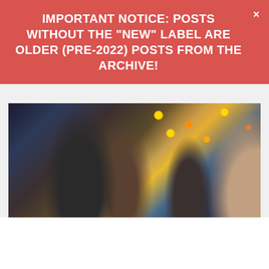IMPORTANT NOTICE: POSTS WITHOUT THE "NEW" LABEL ARE OLDER (PRE-2022) POSTS FROM THE ARCHIVE!
[Figure (photo): People walking in what appears to be a festive outdoor square, possibly Moscow's Red Square, with holiday lights and St. Basil's Cathedral visible in the background. Two women in the foreground, one in a black coat taking a photo.]
The West Sums up the “Year of Putin”: What Can Stop Russia
The New Year is not only a universal holiday for a variety of countries, but also a moment when our Western opponents sum up the results…